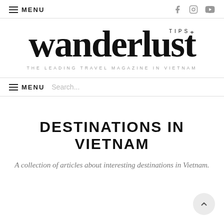≡ MENU
[Figure (logo): Wanderlust Tips logo with 'TIPS+' superscript and tagline 'THE LEADING TRAVEL MAGAZINE IN VIETNAM']
≡ MENU   Search...
DESTINATIONS IN VIETNAM
A collection of articles about interesting destinations in Vietnam.